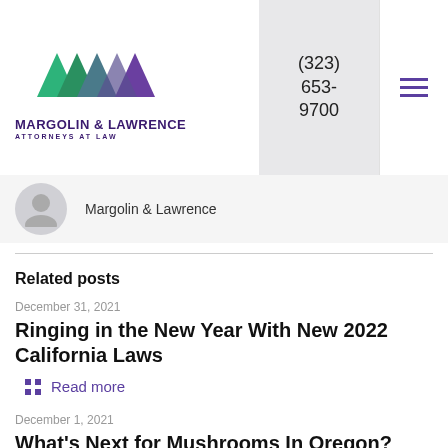[Figure (logo): Margolin & Lawrence Attorneys at Law logo with stylized M letters in green and purple]
(323) 653-9700
Margolin & Lawrence
Related posts
December 31, 2021
Ringing in the New Year With New 2022 California Laws
Read more
December 1, 2021
What's Next for Mushrooms In Oregon?